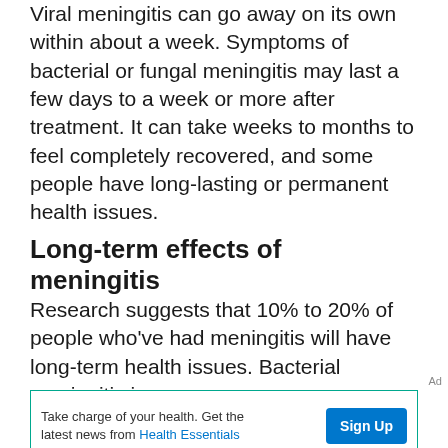Viral meningitis can go away on its own within about a week. Symptoms of bacterial or fungal meningitis may last a few days to a week or more after treatment. It can take weeks to months to feel completely recovered, and some people have long-lasting or permanent health issues.
Long-term effects of meningitis
Research suggests that 10% to 20% of people who've had meningitis will have long-term health issues. Bacterial meningitis is more
Ad
Take charge of your health. Get the latest news from Health Essentials Sign Up